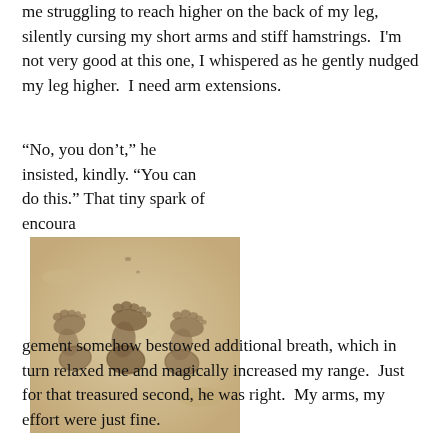me struggling to reach higher on the back of my leg, silently cursing my short arms and stiff hamstrings.  I'm not very good at this one, I whispered as he gently nudged my leg higher.  I need arm extensions.
“No, you don’t,” he insisted, kindly. “You can do this.” That tiny spark of encoura gement somehow bestowed additional breath, which in turn relaxed me and magically increased my range.  Just for that treasured second, he was right.  My arms, my effort were just fine.
[Figure (photo): Three footprints pressed into sand, photographed in sepia/warm tones from above. The imprints show three sets of bare feet in soft sandy beach.]